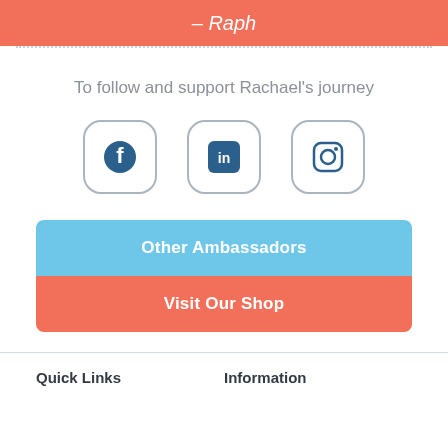– Raph
To follow and support Rachael's journey
[Figure (illustration): Three social media icon buttons side by side: Facebook (f logo), LinkedIn (in logo), Instagram (camera logo), each in a rounded-rectangle outlined box]
Other Ambassadors
Visit Our Shop
Quick Links
Information